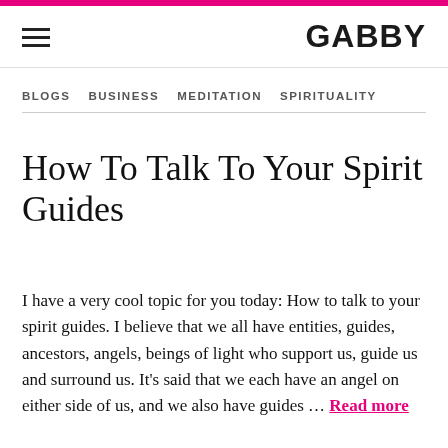GABBY
BLOGS  BUSINESS  MEDITATION  SPIRITUALITY
How To Talk To Your Spirit Guides
I have a very cool topic for you today: How to talk to your spirit guides. I believe that we all have entities, guides, ancestors, angels, beings of light who support us, guide us and surround us. It's said that we each have an angel on either side of us, and we also have guides … Read more